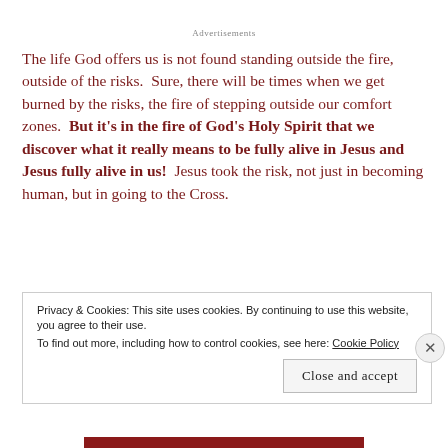Advertisements
The life God offers us is not found standing outside the fire, outside of the risks.  Sure, there will be times when we get burned by the risks, the fire of stepping outside our comfort zones.  But it's in the fire of God's Holy Spirit that we discover what it really means to be fully alive in Jesus and Jesus fully alive in us!  Jesus took the risk, not just in becoming human, but in going to the Cross.
Privacy & Cookies: This site uses cookies. By continuing to use this website, you agree to their use.
To find out more, including how to control cookies, see here: Cookie Policy